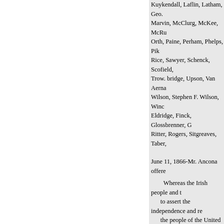Kuykendall, Laflin, Latham, Geo. Marvin, McClurg, McKee, McRu Orth, Paine, Perham, Phelps, Pik Rice, Sawyer, Schenck, Scofield, Trow. bridge, Upson, Van Aerna Wilson, Stephen F. Wilson, Winc Eldridge, Finck, Glossbrenner, G Ritter, Rogers, Sitgreaves, Taber,
June 11, 1866-Mr. Ancona offere
Whereas the Irish people and t to assert the independence and re the people of the United States a especially when those engaged th race, they having shed their bloo has been engaged; and whereas t other or greater consideration fro manded by the strict letter of inte whereas when reparation is dema enforce the same, she arrogantly whereas the existence of our neu to discriminate most harshly agai